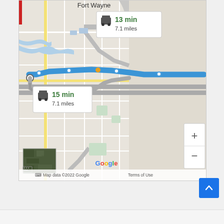[Figure (screenshot): Google Maps screenshot showing two driving routes in Fort Wayne area. Route 1: 13 min, 7.1 miles (blue highlighted route). Route 2: 15 min, 7.1 miles (gray route). Map includes zoom controls (+/-), satellite thumbnail, Google branding, and map data copyright 2022 Google. A scroll-to-top button (blue arrow) is visible in the lower right.]